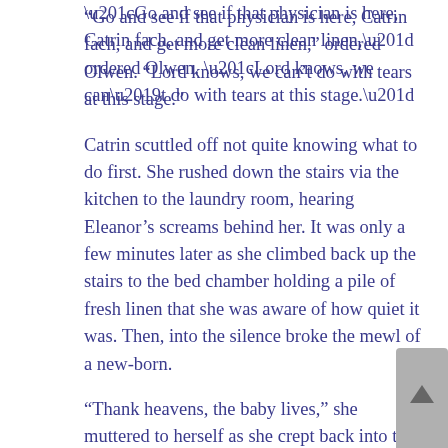“Go and see if that physician is here, Catrin fach, and get more clean linen,” ordered Olwen. “Lord knows, we can’t do with tears at this stage.”
Catrin scuttled off not quite knowing what to do first. She rushed down the stairs via the kitchen to the laundry room, hearing Eleanor’s screams behind her. It was only a few minutes later as she climbed back up the stairs to the bed chamber holding a pile of fresh linen that she was aware of how quiet it was. Then, into the silence broke the mewl of a new-born.
“Thank heavens, the baby lives,” she muttered to herself as she crept back into the bedchamber.
Olwen sat on Eleanor’s bed, cradling the baby in her right arm and wiping tears away with her other hand. “Lord be praised, it’s a girl, a beautiful girl and she’s—”